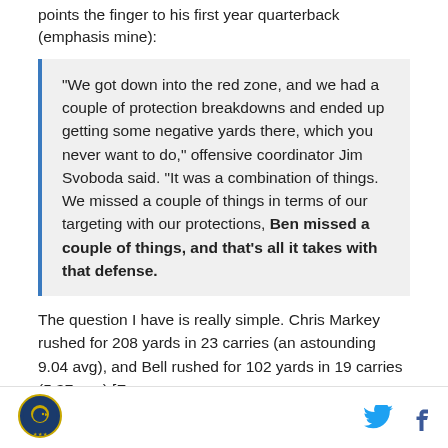points the finger to his first year quarterback (emphasis mine):
"We got down into the red zone, and we had a couple of protection breakdowns and ended up getting some negative yards there, which you never want to do," offensive coordinator Jim Svoboda said. "It was a combination of things. We missed a couple of things in terms of our targeting with our protections, Ben missed a couple of things, and that's all it takes with that defense.
The question I have is really simple. Chris Markey rushed for 208 yards in 23 carries (an astounding 9.04 avg), and Bell rushed for 102 yards in 19 carries (5.37 avg) [From
Logo and social icons